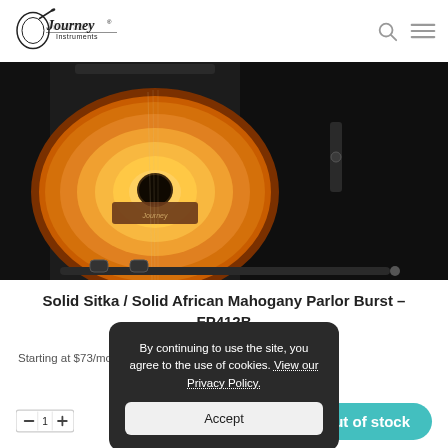Journey Instruments
[Figure (photo): A sunburst-finish parlor acoustic guitar body inside an open black guitar case, photographed from above. The guitar shows warm amber-to-brown sunburst coloring with visible soundhole and label.]
Solid Sitka / Solid African Mahogany Parlor Burst – FP412B
Starting at $73/mo with affirm.
[Figure (other): Cookie consent popup overlay: dark rounded rectangle with text 'By continuing to use the site, you agree to the use of cookies. View our Privacy Policy.' and an Accept button.]
[Figure (other): Quantity selector widget at bottom left showing a stepper control.]
Out of stock